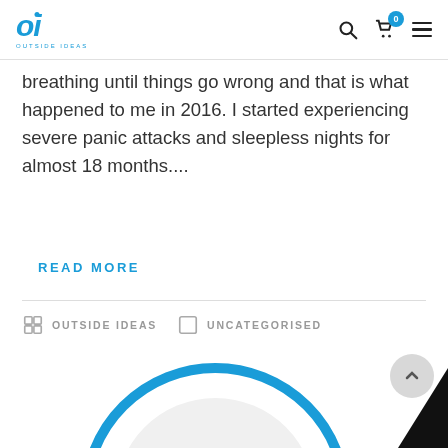Outside Ideas - Logo and navigation
breathing until things go wrong and that is what happened to me in 2016. I started experiencing severe panic attacks and sleepless nights for almost 18 months....
READ MORE
OUTSIDE IDEAS  UNCATEGORISED
[Figure (photo): Circular image with plant/herb seedlings on a white plate, with a teal/blue circular border, partially visible at the bottom of the page]